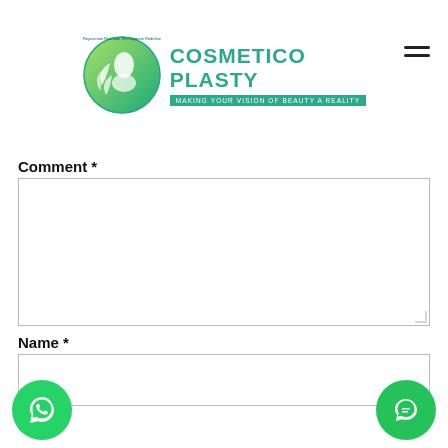[Figure (logo): Cosmetico Plasty logo with circular green emblem featuring a face profile and leaves, with brand name and tagline 'Making your vision of beauty a reality']
Comment *
Name *
Email *